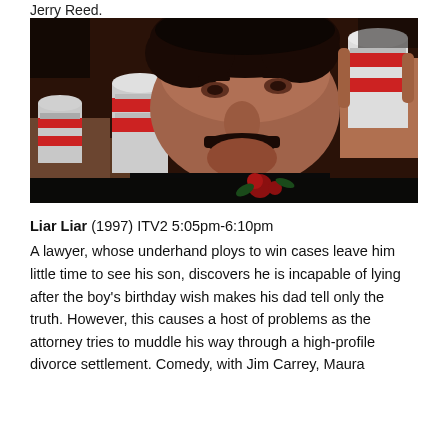Jerry Reed.
[Figure (photo): A man with a thick moustache and dark curly hair, wearing a floral shirt with red roses, lying close to a table with two cans of beer, looking at the camera in a close-up shot.]
Liar Liar (1997) ITV2 5:05pm-6:10pm A lawyer, whose underhand ploys to win cases leave him little time to see his son, discovers he is incapable of lying after the boy's birthday wish makes his dad tell only the truth. However, this causes a host of problems as the attorney tries to muddle his way through a high-profile divorce settlement. Comedy, with Jim Carrey, Maura